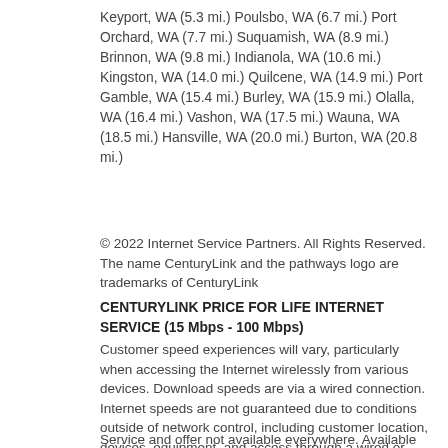Keyport, WA (5.3 mi.) Poulsbo, WA (6.7 mi.) Port Orchard, WA (7.7 mi.) Suquamish, WA (8.9 mi.) Brinnon, WA (9.8 mi.) Indianola, WA (10.6 mi.) Kingston, WA (14.0 mi.) Quilcene, WA (14.9 mi.) Port Gamble, WA (15.4 mi.) Burley, WA (15.9 mi.) Olalla, WA (16.4 mi.) Vashon, WA (17.5 mi.) Wauna, WA (18.5 mi.) Hansville, WA (20.0 mi.) Burton, WA (20.8 mi.)
© 2022 Internet Service Partners. All Rights Reserved. The name CenturyLink and the pathways logo are trademarks of CenturyLink
CENTURYLINK PRICE FOR LIFE INTERNET SERVICE (15 Mbps - 100 Mbps)
Customer speed experiences will vary, particularly when accessing the Internet wirelessly from various devices. Download speeds are via a wired connection. Internet speeds are not guaranteed due to conditions outside of network control, including customer location, devices, equipment, and access through a wired or wireless connection; see centurylink.com/InternetPolicy for more information
Service and offer not available everywhere. Available to new